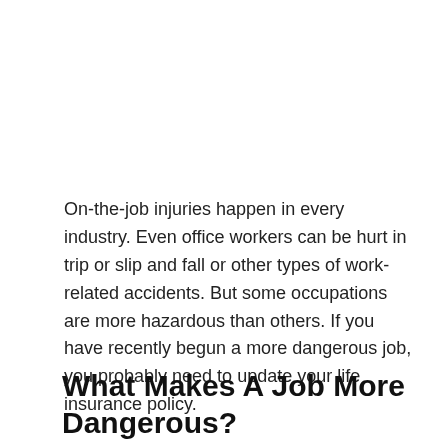On-the-job injuries happen in every industry. Even office workers can be hurt in trip or slip and fall or other types of work-related accidents. But some occupations are more hazardous than others. If you have recently begun a more dangerous job, you probably need to update your life insurance policy.
What Makes A Job More Dangerous?